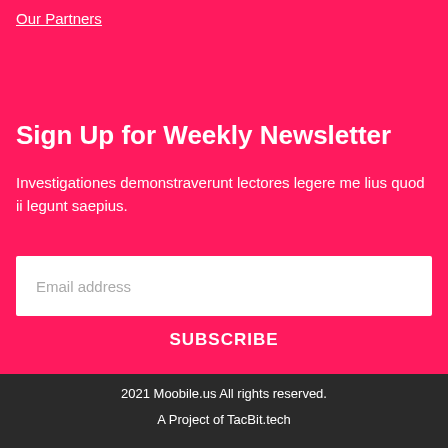Our Partners
Sign Up for Weekly Newsletter
Investigationes demonstraverunt lectores legere me lius quod ii legunt saepius.
Email address
SUBSCRIBE
2021 Moobile.us All rights reserved.
A Project of TacBit.tech